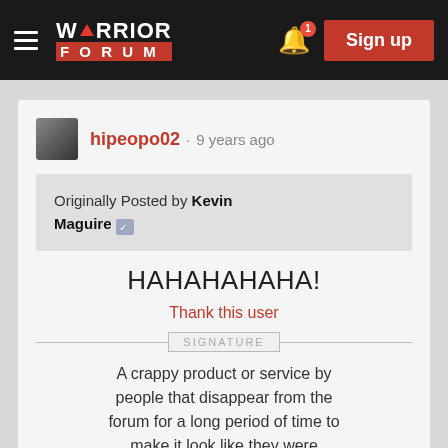Warrior Forum — Sign up
hipeopo02 · 9 years ago
Originally Posted by Kevin Maguire
HAHAHAHAHA!
Thank this user
SIGNATURE
A crappy product or service by people that disappear from the forum for a long period of time to make it look like they were